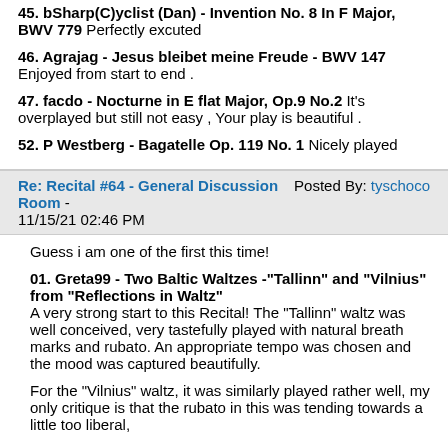45. bSharp(C)yclist (Dan) - Invention No. 8 In F Major, BWV 779 Perfectly excuted
46. Agrajag - Jesus bleibet meine Freude - BWV 147 Enjoyed from start to end .
47. facdo - Nocturne in E flat Major, Op.9 No.2 It's overplayed but still not easy , Your play is beautiful .
52. P Westberg - Bagatelle Op. 119 No. 1 Nicely played
Re: Recital #64 - General Discussion Room - 11/15/21 02:46 PM  Posted By: tyschoco
Guess i am one of the first this time!
01. Greta99 - Two Baltic Waltzes -"Tallinn" and "Vilnius" from "Reflections in Waltz" A very strong start to this Recital! The "Tallinn" waltz was well conceived, very tastefully played with natural breath marks and rubato. An appropriate tempo was chosen and the mood was captured beautifully.
For the "Vilnius" waltz, it was similarly played rather well, my only critique is that the rubato in this was tending towards a little too liberal,